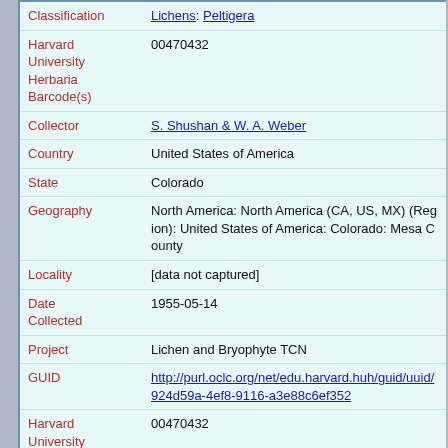Classification: Lichens: Peltigera
Harvard University Herbaria Barcode(s): 00470432
Collector: S. Shushan & W. A. Weber
Country: United States of America
State: Colorado
Geography: North America: North America (CA, US, MX) (Region): United States of America: Colorado: Mesa County
Locality: [data not captured]
Date Collected: 1955-05-14
Project: Lichen and Bryophyte TCN
GUID: http://purl.oclc.org/net/edu.harvard.huh/guid/uuid/924d59a-4ef8-9116-a3e88c6ef352
Harvard University Herbaria Barcode: 00470432
Herbarium: FH
Determination: Peltigera rufescens (Weiss) Humboldt